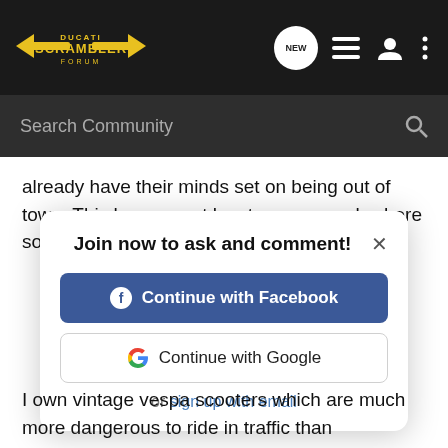[Figure (screenshot): Ducati Scrambler Forum navigation bar with logo, NEW badge, menu icons, search bar labeled 'Search Community']
already have their minds set on being out of town. This happens at least once a week where someone sees me too late.
[Figure (screenshot): Modal dialog: 'Join now to ask and comment!' with Continue with Facebook button, Continue with Google button, and 'or sign up with email' link]
I own vintage vespa scooters which are much more dangerous to ride in traffic than motorcycles are. I cut my teeth on scooters before having fast bikes, so I'm just used to everyone trying to